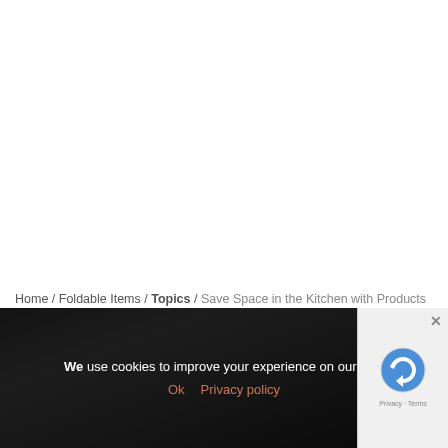Home / Foldable Items / Topics / Save Space in the Kitchen with Products That Fold
[Figure (photo): Dark background photo of a kitchen/folding product, partially visible at bottom of page, with a cookie consent overlay banner and a reCAPTCHA widget on the right side.]
We use cookies to improve your experience on our site. Ok  Privacy policy